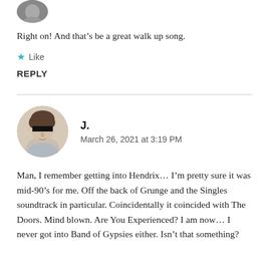[Figure (photo): Partial circular avatar image cropped at top of page]
Right on! And that’s be a great walk up song.
★ Like
REPLY
[Figure (photo): Circular avatar photo of a person with a black bar obscuring their eyes]
J.
March 26, 2021 at 3:19 PM
Man, I remember getting into Hendrix… I’m pretty sure it was mid-90’s for me. Off the back of Grunge and the Singles soundtrack in particular. Coincidentally it coincided with The Doors. Mind blown. Are You Experienced? I am now… I never got into Band of Gypsies either. Isn’t that something?